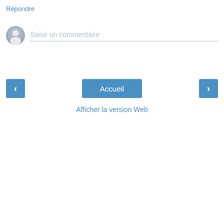Répondre
[Figure (illustration): Comment input area with avatar icon and placeholder text 'Saisir un commentaire' and underline]
[Figure (screenshot): Navigation row with left arrow button (blue), Accueil center button (blue), right arrow button (blue)]
Afficher la version Web